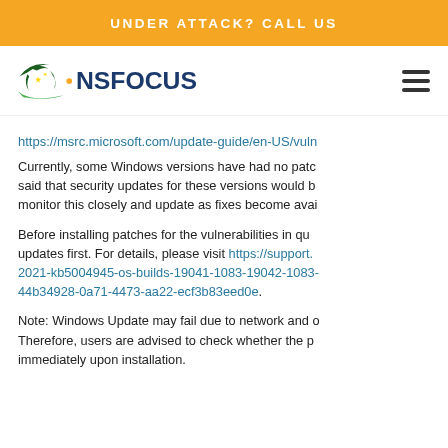UNDER ATTACK? CALL US
[Figure (logo): NSFOCUS logo with eagle/flag emblem and hamburger menu icon]
https://msrc.microsoft.com/update-guide/en-US/vuln...
Currently, some Windows versions have had no patches released. Microsoft said that security updates for these versions would be coming. We will monitor this closely and update as fixes become available.
Before installing patches for the vulnerabilities in question, install any pending updates first. For details, please visit https://support... 2021-kb5004945-os-builds-19041-1083-19042-1083-... 44b34928-0a71-4473-aa22-ecf3b83eed0e.
Note: Windows Update may fail due to network and other reasons. Therefore, users are advised to check whether the patch was applied immediately upon installation.